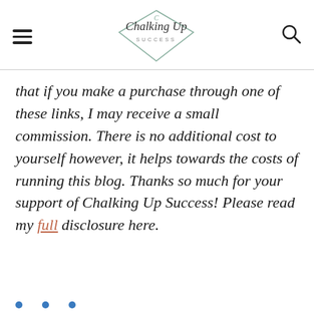Chalking Up Success
that if you make a purchase through one of these links, I may receive a small commission. There is no additional cost to yourself however, it helps towards the costs of running this blog. Thanks so much for your support of Chalking Up Success! Please read my full disclosure here.